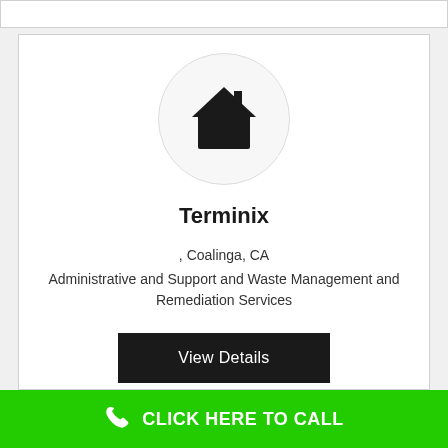[Figure (logo): Circular logo with a house/home icon in black on light grey background]
Terminix
, Coalinga, CA
Administrative and Support and Waste Management and Remediation Services
View Details
CLICK HERE TO CALL